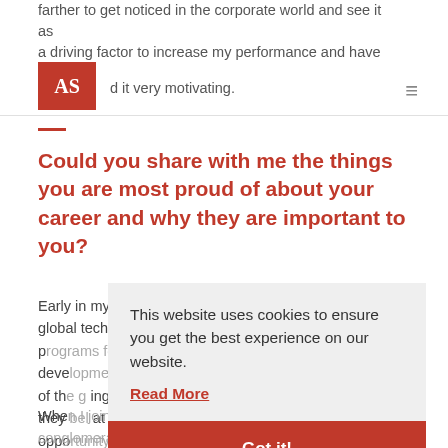farther to get noticed in the corporate world and see it as a driving factor to increase my performance and have found it very motivating.
Could you share with me the things you are most proud of about your career and why they are important to you?
Early in my career, I joined Tech Mahindra, a leading global technology company, which had a strong focus on programs for professional growth and career development. I was able to take advantage of the great learning opportunities being put out. they believed in the talent opportunity and gave me the opportunity to take a two-year sabbatical to pursue my management degree.
When I joined ITC, a large India headquartered conglomerate renowned for focusing on building strong
This website uses cookies to ensure you get the best experience on our website.
Read More
Got it!